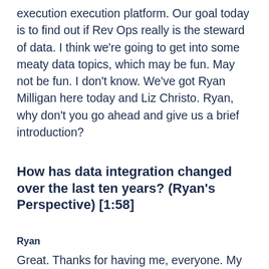execution execution platform. Our goal today is to find out if Rev Ops really is the steward of data. I think we're going to get into some meaty data topics, which may be fun. May not be fun. I don't know. We've got Ryan Milligan here today and Liz Christo. Ryan, why don't you go ahead and give us a brief introduction?
How has data integration changed over the last ten years? (Ryan's Perspective) [1:58]
Ryan
Great. Thanks for having me, everyone. My name is Ryan Milligan, senior director of